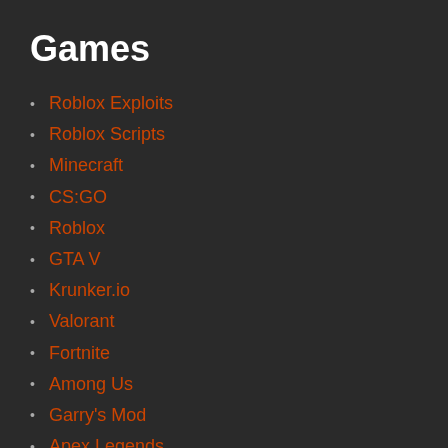Games
Roblox Exploits
Roblox Scripts
Minecraft
CS:GO
Roblox
GTA V
Krunker.io
Valorant
Fortnite
Among Us
Garry's Mod
Apex Legends
Team Fortress 2